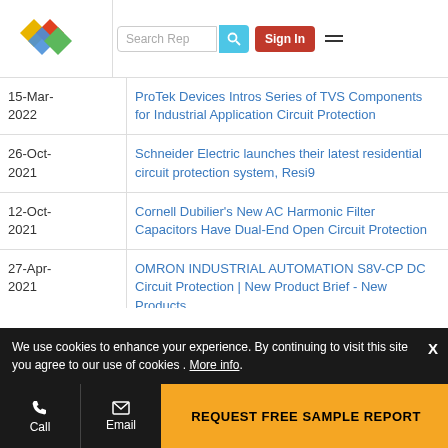Search Rep | Sign In
| Date | Article Title |
| --- | --- |
| 15-Mar-2022 | ProTek Devices Intros Series of TVS Components for Industrial Application Circuit Protection |
| 26-Oct-2021 | Schneider Electric launches their latest residential circuit protection system, Resi9 |
| 12-Oct-2021 | Cornell Dubilier's New AC Harmonic Filter Capacitors Have Dual-End Open Circuit Protection |
| 27-Apr-2021 | OMRON INDUSTRIAL AUTOMATION S8V-CP DC Circuit Protection | New Product Brief - New Products |
| 22-Dec-2020 | Circuit Protection, Control, and Sensing Design Considerations for Smart Home Security Applications - Industry Articles |
We use cookies to enhance your experience. By continuing to visit this site you agree to our use of cookies . More info.
Call | Email | REQUEST FREE SAMPLE REPORT